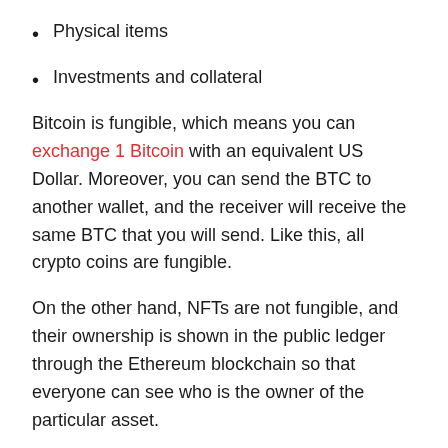Physical items
Investments and collateral
Bitcoin is fungible, which means you can exchange 1 Bitcoin with an equivalent US Dollar. Moreover, you can send the BTC to another wallet, and the receiver will receive the same BTC that you will send. Like this, all crypto coins are fungible.
On the other hand, NFTs are not fungible, and their ownership is shown in the public ledger through the Ethereum blockchain so that everyone can see who is the owner of the particular asset.
Let's have a look at the price chart of Theta Token, which is a famous NFT.